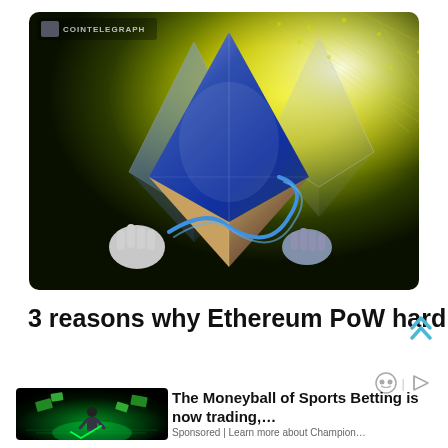[Figure (illustration): CoinTelegraph branded illustration showing stylized Ethereum diamond logo gems held by robotic hands against a glowing green-yellow network background]
3 reasons why Ethereum PoW hard fork tokens won't gain traction
[Figure (photo): Advertisement thumbnail showing a person standing in a sports arena with money flying around, for The Moneyball of Sports Betting]
The Moneyball of Sports Betting is now trading,… Sponsored | Learn more about Champion…